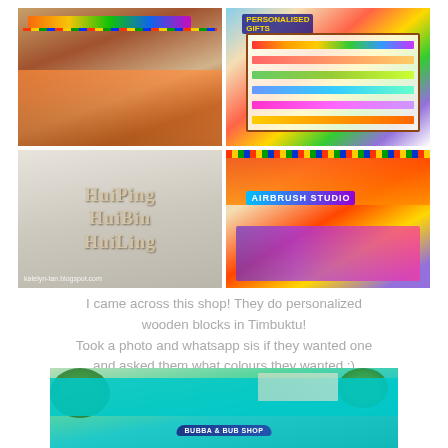[Figure (photo): Four-photo collage: top-left shows a colorful outdoor market stall/shop with striped awning; top-right shows a personalized gifts display board with colorful name tags; bottom-left shows wooden letter blocks spelling HuiPing, HuiBin, HuiLing with watermark katelyn-tan.blogspot.com; bottom-right shows an Airbrush Studio shop front with colorful awning.]
I came across this shop! They do personalized wooden blocks in Timbuktu! Took a photo and whatsapp sis if they wanted one and asked them what colours they wanted :) Mine was in pink, bin's in orange, ling's in blue. Come to think of it, I have no idea where I kept mine!
[Figure (photo): Bottom photo showing a teal/turquoise awning with foliage and a blue sign partially visible at the bottom of a market stall area.]